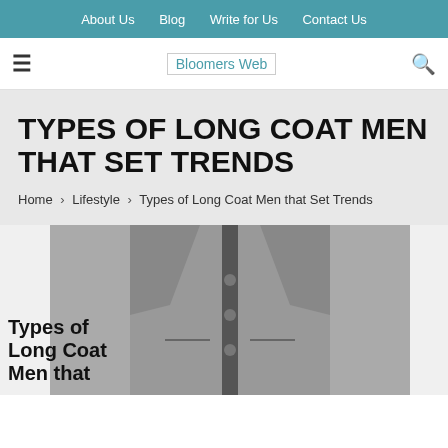About Us  Blog  Write for Us  Contact Us
Bloomers Web
TYPES OF LONG COAT MEN THAT SET TRENDS
Home > Lifestyle > Types of Long Coat Men that Set Trends
[Figure (photo): A grey long coat for men, partially visible with buttons and lapel, with overlaid text reading 'Types of Long Coat Men that']